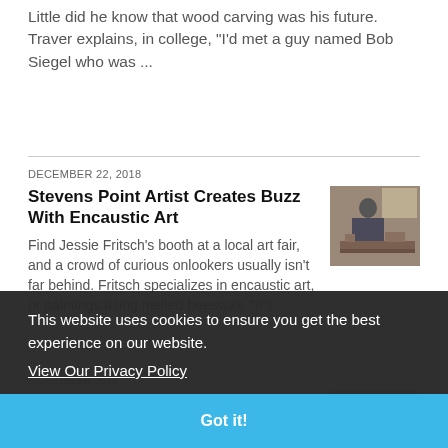Little did he know that wood carving was his future. Traver explains, in college, "I'd met a guy named Bob Siegel who was ...
DECEMBER 22, 2018
Stevens Point Artist Creates Buzz With Encaustic Art
Find Jessie Fritsch's booth at a local art fair, and a crowd of curious onlookers usually isn't far behind. Fritsch specializes in encaustic art, or paintings using melted beeswax. "It's ...
[Figure (photo): Person working at a workbench in a studio or workshop]
NOVEMBER 2018
A Farmer's Touching Tribute To His
[Figure (photo): Person standing in a field of sunflowers]
Take a late summer drive on State Road 85 in Eau Claire County and odds are one of nature's most colorful creations will be on display
This website uses cookies to ensure you get the best experience on our website.
View Our Privacy Policy
Got it!